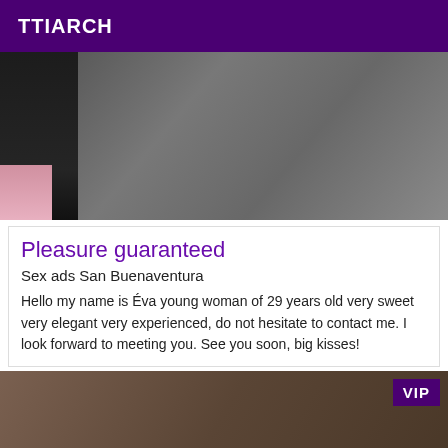TTIARCH
[Figure (photo): Close-up photo of a person's hand with red nail polish resting on dark grey fabric, with a black boot/shoe visible on the left side with pink lining]
Pleasure guaranteed
Sex ads San Buenaventura
Hello my name is Éva young woman of 29 years old very sweet very elegant very experienced, do not hesitate to contact me. I look forward to meeting you. See you soon, big kisses!
[Figure (photo): Bottom photo partially visible showing dark blurry image, with a purple VIP badge in the top-right corner]